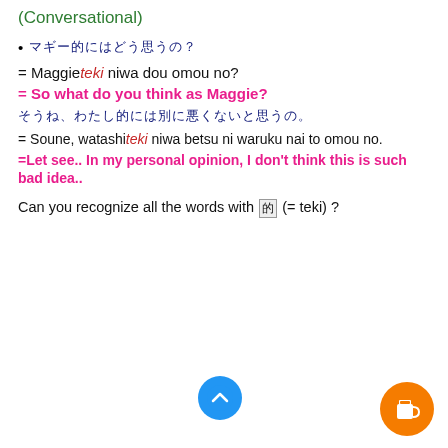(Conversational)
• マギー的にはどう思うの？
= Maggieteki niwa dou omou no?
= So what do you think as Maggie?
そうね、わたし的には別に悪くないと思うの。
= Soune, watashiteki niwa betsu ni waruku nai to omou no.
=Let see.. In my personal opinion, I don't think this is such bad idea..
Can you recognize all the words with 的 (= teki) ?